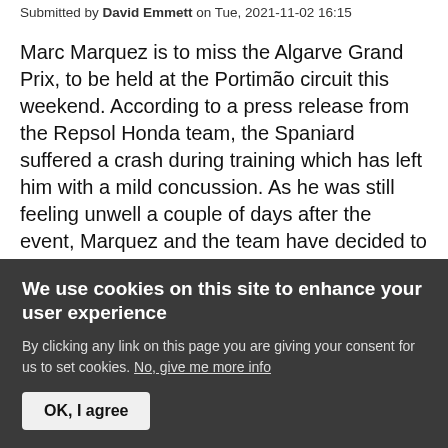Submitted by David Emmett on Tue, 2021-11-02 16:15
Marc Marquez is to miss the Algarve Grand Prix, to be held at the Portimão circuit this weekend. According to a press release from the Repsol Honda team, the Spaniard suffered a crash during training which has left him with a mild concussion. As he was still feeling unwell a couple of days after the event, Marquez and the team have decided to skip the penultimate round of MotoGP.
Marquez' absence at Portimão raises questions of whether he will be fit for Valencia, and indeed, whether it will be worth Marquez taking a risk on being fully fit for
We use cookies on this site to enhance your user experience
By clicking any link on this page you are giving your consent for us to set cookies. No, give me more info
OK, I agree